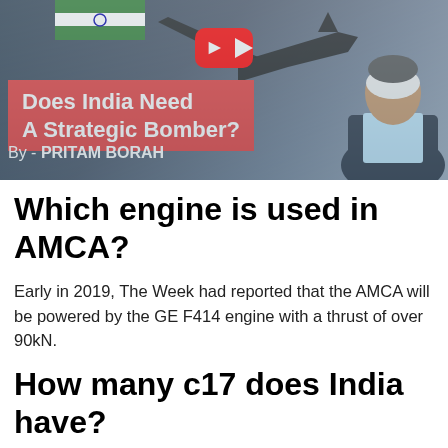[Figure (screenshot): YouTube video thumbnail showing a stealth aircraft silhouette against a grey sky, with a red play button, a red banner reading 'Does India Need A Strategic Bomber?', author credit 'By - PRITAM BORAH', an Indian flag, and a person (likely Narendra Modi) on the right side.]
Which engine is used in AMCA?
Early in 2019, The Week had reported that the AMCA will be powered by the GE F414 engine with a thrust of over 90kN.
How many c17 does India have?
Today the IAF has a fleet of 11 C-17